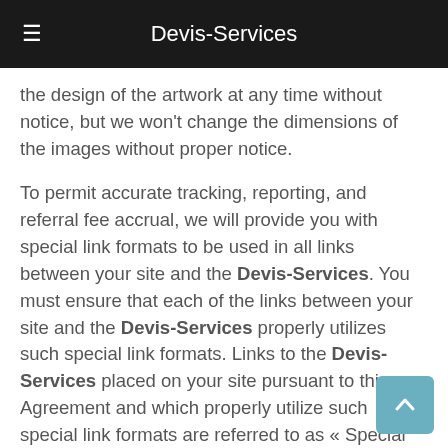Devis-Services
the design of the artwork at any time without notice, but we won't change the dimensions of the images without proper notice.
To permit accurate tracking, reporting, and referral fee accrual, we will provide you with special link formats to be used in all links between your site and the Devis-Services. You must ensure that each of the links between your site and the Devis-Services properly utilizes such special link formats. Links to the Devis-Services placed on your site pursuant to this Agreement and which properly utilize such special link formats are referred to as « Special Links. » You will earn referral fees only with respect to sales on a Devis-Services product occurring directly through Special Links; we will not be liable to you with respect to any failure by you or someone you refer to use Special